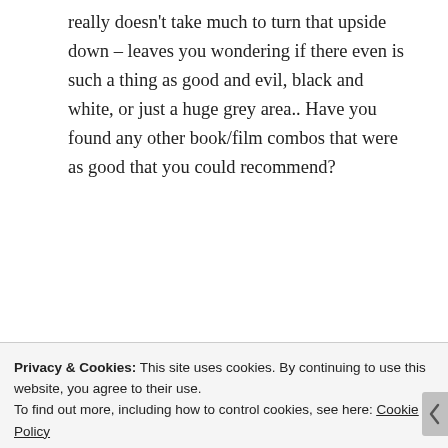really doesn't take much to turn that upside down – leaves you wondering if there even is such a thing as good and evil, black and white, or just a huge grey area.. Have you found any other book/film combos that were as good that you could recommend?
mollyhindhaugh | May 8, 2014 at 7:25 am |
Can't think of any that were
Privacy & Cookies: This site uses cookies. By continuing to use this website, you agree to their use.
To find out more, including how to control cookies, see here: Cookie Policy
Close and accept